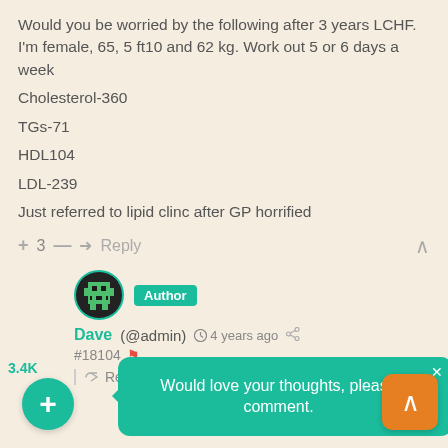Would you be worried by the following after 3 years LCHF. I'm female, 65, 5 ft10 and 62 kg. Work out 5 or 6 days a week
Cholesterol-360
TGs-71
HDL104
LDL-239
Just referred to lipid clinc after GP horrified
+ 3 — Reply
Dave (@admin) 4 years ago
Author
#18104
Reply to Sheelagh Littlewood
3.4K
Would love your thoughts, please comment.